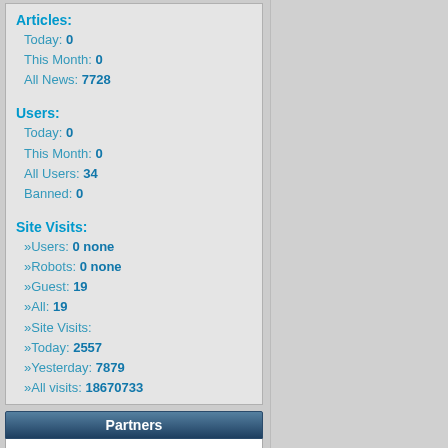Articles:
Today: 0
This Month: 0
All News: 7728
Users:
Today: 0
This Month: 0
All Users: 34
Banned: 0
Site Visits:
»Users: 0 none
»Robots: 0 none
»Guest: 19
»All: 19
»Site Visits:
»Today: 2557
»Yesterday: 7879
»All visits: 18670733
Partners
Advertising
Poll
What's your favourite music?